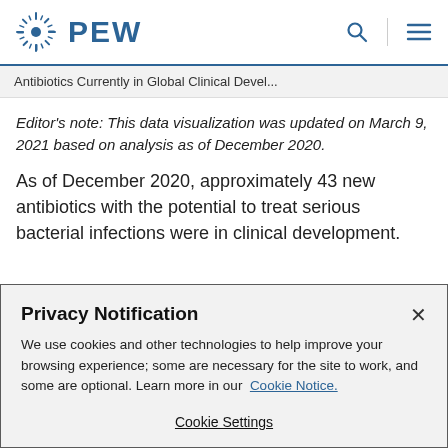PEW
Antibiotics Currently in Global Clinical Devel...
Editor's note: This data visualization was updated on March 9, 2021 based on analysis as of December 2020.
As of December 2020, approximately 43 new antibiotics with the potential to treat serious bacterial infections were in clinical development.
Privacy Notification
We use cookies and other technologies to help improve your browsing experience; some are necessary for the site to work, and some are optional. Learn more in our Cookie Notice.
Cookie Settings